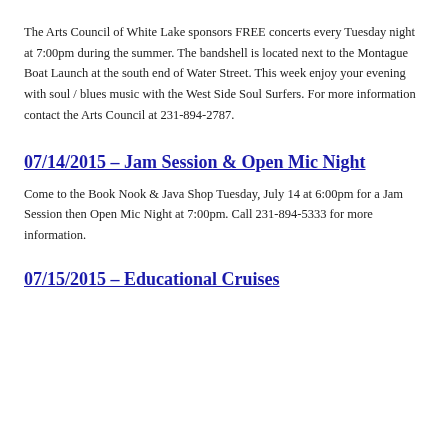The Arts Council of White Lake sponsors FREE concerts every Tuesday night at 7:00pm during the summer. The bandshell is located next to the Montague Boat Launch at the south end of Water Street. This week enjoy your evening with soul / blues music with the West Side Soul Surfers. For more information contact the Arts Council at 231-894-2787.
07/14/2015 – Jam Session & Open Mic Night
Come to the Book Nook & Java Shop Tuesday, July 14 at 6:00pm for a Jam Session then Open Mic Night at 7:00pm. Call 231-894-5333 for more information.
07/15/2015 – Educational Cruises